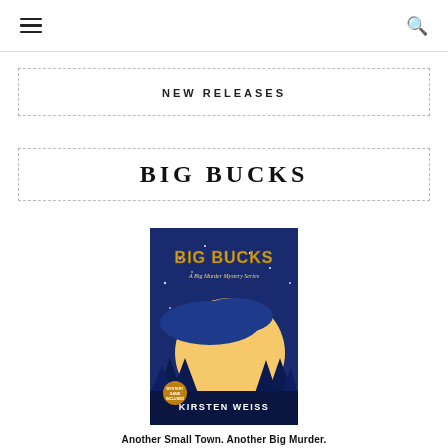Navigation menu and search icon
NEW RELEASES
BIG BUCKS
[Figure (illustration): Book cover for 'Big Bucks — A Big Murder Mystery Series' by Kirsten Weiss. Blue night scene with mountains, pine trees, and a large moon. Gold text title 'BIG BUCKS' at top, 'A Big Murder Mystery Series' subtitle, 'KIRSTEN WEISS' author name at bottom, and a mystery badge seal at lower left.]
Another Small Town. Another Big Murder.